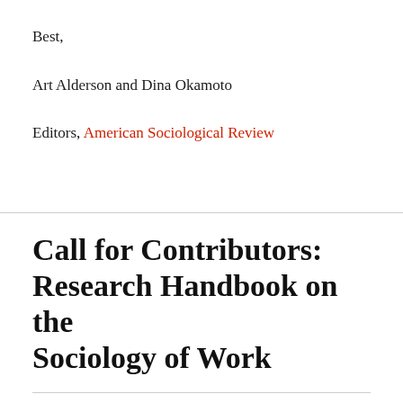Best,
Art Alderson and Dina Okamoto
Editors, American Sociological Review
Call for Contributors: Research Handbook on the Sociology of Work
ON JULY 29, 2022 / BY DIANA ENRIQUEZ
LEAVE A COMMENT